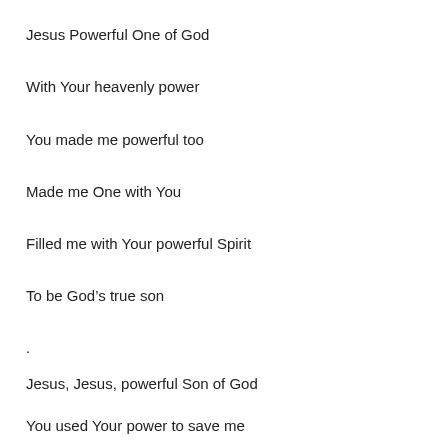Jesus Powerful One of God
With Your heavenly power
You made me powerful too
Made me One with You
Filled me with Your powerful Spirit
To be God’s true son
.
Jesus, Jesus, powerful Son of God
You used Your power to save me